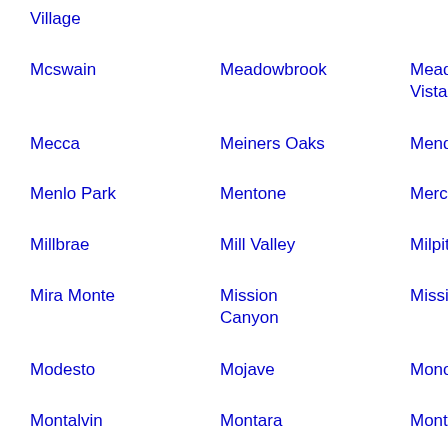Village
Mcswain
Meadowbrook
Meadow Vista
Mea…
Mecca
Meiners Oaks
Mendota
Men…
Menlo Park
Mentone
Merced
Mid…
Millbrae
Mill Valley
Milpitas
Mira…
Mira Monte
Mission Canyon
Mission Hills
Miss…
Modesto
Mojave
Mono Vista
Mo…
Montalvin
Montara
Montclair
Mo…